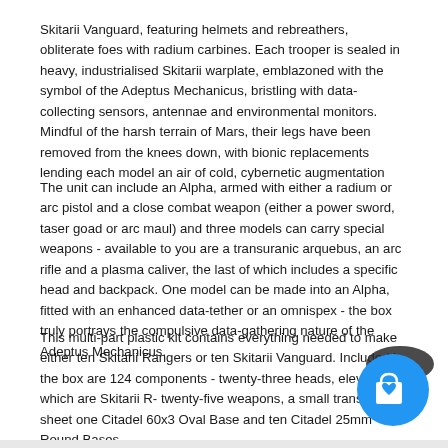Skitarii Vanguard, featuring helmets and rebreathers, obliterate foes with radium carbines. Each trooper is sealed in heavy, industrialised Skitarii warplate, emblazoned with the symbol of the Adeptus Mechanicus, bristling with data-collecting sensors, antennae and environmental monitors. Mindful of the harsh terrain of Mars, their legs have been removed from the knees down, with bionic replacements lending each model an air of cold, cybernetic augmentation
The unit can include an Alpha, armed with either a radium or arc pistol and a close combat weapon (either a power sword, taser goad or arc maul) and three models can carry special weapons - available to you are a transuranic arquebus, an arc rifle and a plasma caliver, the last of which includes a specific head and backpack. One model can be made into an Alpha, fitted with an enhanced data-tether or an omnispex - the box truly portrays the compulsive data-gathering nature of the Adeptus Mechanicus.
This multi-part plastic kit contains everything needed to make either ten Skitarii Rangers or ten Skitarii Vanguard. Included in the box are 124 components - twenty-three heads, eleven of which are Skitarii R- twenty-five weapons, a small transfer sheet one Citadel 60x35 Oval Base and ten Citadel 25mm Round Bases.
[Figure (illustration): Blue circular shopping cart button with a shopping bag and heart icon, partially overlapping the bottom-right corner of the text area]